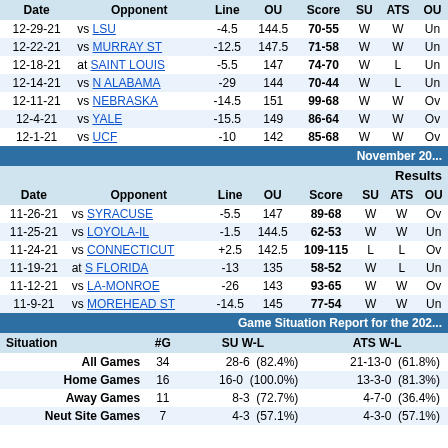| Date | Opponent | Line | OU | Score | SU | ATS | OU |
| --- | --- | --- | --- | --- | --- | --- | --- |
| 12-29-21 | vs LSU | -4.5 | 144.5 | 70-55 | W | W | Un |
| 12-22-21 | vs MURRAY ST | -12.5 | 147.5 | 71-58 | W | W | Un |
| 12-18-21 | at SAINT LOUIS | -5.5 | 147 | 74-70 | W | L | Un |
| 12-14-21 | vs N ALABAMA | -29 | 144 | 70-44 | W | L | Un |
| 12-11-21 | vs NEBRASKA | -14.5 | 151 | 99-68 | W | W | Ov |
| 12-4-21 | vs YALE | -15.5 | 149 | 86-64 | W | W | Ov |
| 12-1-21 | vs UCF | -10 | 142 | 85-68 | W | W | Ov |
November 20...
Results
| Date | Opponent | Line | OU | Score | SU | ATS | OU |
| --- | --- | --- | --- | --- | --- | --- | --- |
| 11-26-21 | vs SYRACUSE | -5.5 | 147 | 89-68 | W | W | Ov |
| 11-25-21 | vs LOYOLA-IL | -1.5 | 144.5 | 62-53 | W | W | Un |
| 11-24-21 | vs CONNECTICUT | +2.5 | 142.5 | 109-115 | L | L | Ov |
| 11-19-21 | at S FLORIDA | -13 | 135 | 58-52 | W | L | Un |
| 11-12-21 | vs LA-MONROE | -26 | 143 | 93-65 | W | W | Ov |
| 11-9-21 | vs MOREHEAD ST | -14.5 | 145 | 77-54 | W | W | Un |
Game Situation Report for the 202...
| Situation | #G | SU W-L | ATS W-L |
| --- | --- | --- | --- |
| All Games | 34 | 28-6  (82.4%) | 21-13-0  (61.8%) |
| Home Games | 16 | 16-0  (100.0%) | 13-3-0  (81.3%) |
| Away Games | 11 | 8-3  (72.7%) | 4-7-0  (36.4%) |
| Neut Site Games | 7 | 4-3  (57.1%) | 4-3-0  (57.1%) |